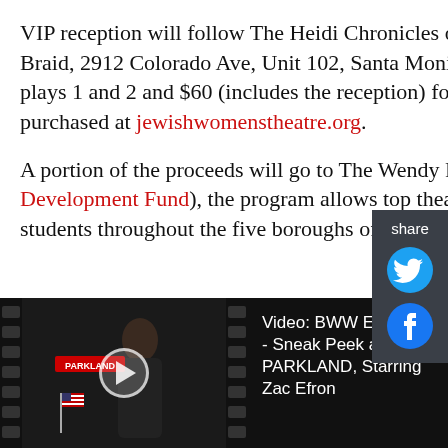VIP reception will follow The Heidi Chronicles on both dates. All shows will be performed at The Braid, 2912 Colorado Ave, Unit 102, Santa Monica, CA 90404. Tickets are $50 for general seating to plays 1 and 2 and $60 (includes the reception) for play 3. $128 for a 3-show-pass. Tickets can be purchased at jewishwomenstheatre.org.
A portion of the proceeds will go to The Wendy Project. Established in 1998 with TDF (Theatre Development Fund), the program allows top theatre professionals to share their time and expertise with students throughout the five boroughs of NYC.
[Figure (screenshot): Video thumbnail showing a woman in a black turtleneck against a film strip background with PARKLAND text, alongside a play button overlay and video title text 'Video: BWW Exclusive - Sneak Peek at PARKLAND, Starring Zac Efron' with a close button.]